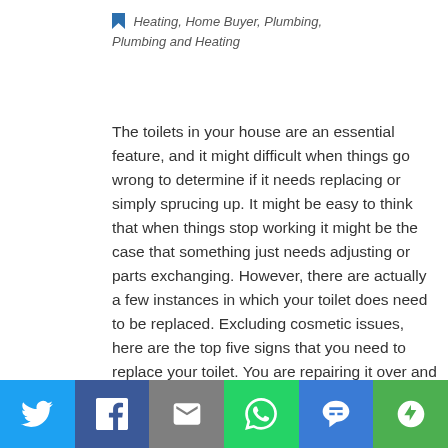Heating, Home Buyer, Plumbing, Plumbing and Heating
The toilets in your house are an essential feature, and it might difficult when things go wrong to determine if it needs replacing or simply sprucing up. It might be easy to think that when things stop working it might be the case that something just needs adjusting or parts exchanging. However, there are actually a few instances in which your toilet does need to be replaced. Excluding cosmetic issues, here are the top five signs that you need to replace your toilet. You are repairing it over and over There are many components to
[Figure (other): Social sharing bar with Twitter, Facebook, Email, WhatsApp, SMS, and More buttons]